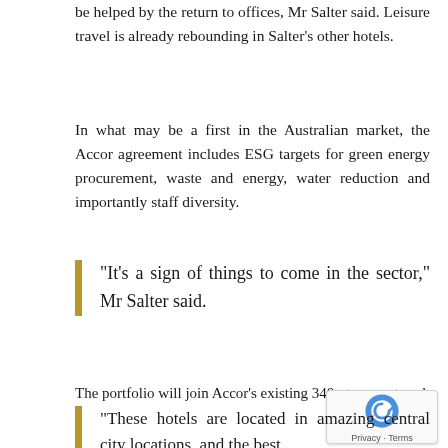be helped by the return to offices, Mr Salter said. Leisure travel is already rebounding in Salter's other hotels.
In what may be a first in the Australian market, the Accor agreement includes ESG targets for green energy procurement, waste and energy, water reduction and importantly staff diversity.
“It’s a sign of things to come in the sector,” Mr Salter said.
The portfolio will join Accor’s existing 340-strong network of hotels in Australia, tapping the benefits of the Paris-based giant’s global network. The deal is Accor’s largest integration since its $1.2 billion acquisition of Mantra Group in 2018.
“These hotels are located in amazing central city locations, and the best